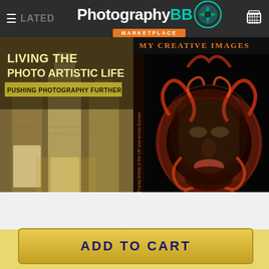Photography BB Marketplace
[Figure (photo): Book cover: Living the Photo Artistic Life - Pushing Photography Further, showing artistic bottles photo]
[Figure (photo): Book cover: My Creative Images, showing artistic face with decorative mask overlay]
Shopping on mobile? No problem!
Your downloads will be saved to your account.
ADD TO CART